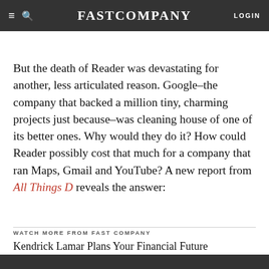FAST COMPANY
But the death of Reader was devastating for another, less articulated reason. Google–the company that backed a million tiny, charming projects just because–was cleaning house of one of its better ones. Why would they do it? How could Reader possibly cost that much for a company that ran Maps, Gmail and YouTube? A new report from All Things D reveals the answer:
WATCH MORE FROM FAST COMPANY
Kendrick Lamar Plans Your Financial Future